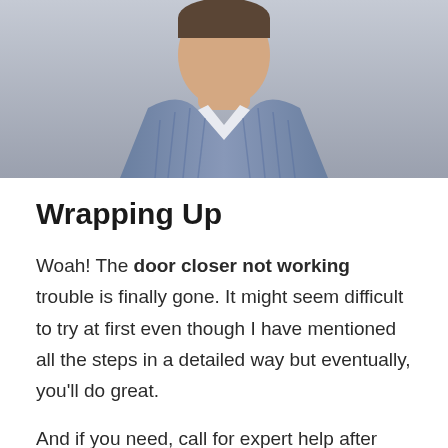[Figure (photo): Photo of a man wearing a blue striped button-up shirt, cropped at the shoulders/chest, gray background]
Wrapping Up
Woah! The door closer not working trouble is finally gone. It might seem difficult to try at first even though I have mentioned all the steps in a detailed way but eventually, you'll do great.
And if you need, call for expert help after preparing the $300 to $1,100 charge to change